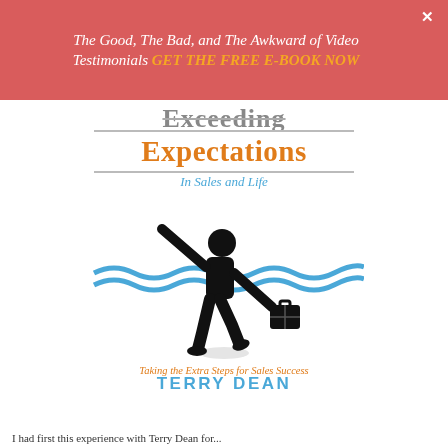The Good, The Bad, and The Awkward of Video Testimonials  GET THE FREE E-BOOK NOW
Exceeding
Expectations
In Sales and Life
[Figure (illustration): Silhouette of a person running and pointing upward with one hand, holding a briefcase in the other hand, breaking through a blue ribbon/finish line tape]
Taking the Extra Steps for Sales Success
TERRY DEAN
I had first this experience with Terry Dean for...